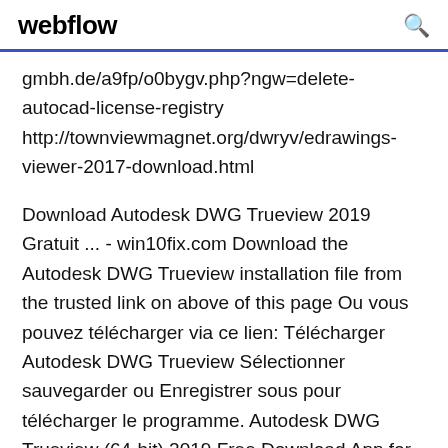webflow
gmbh.de/a9fp/o0bygv.php?ngw=delete-autocad-license-registry http://townviewmagnet.org/dwryv/edrawings-viewer-2017-download.html
Download Autodesk DWG Trueview 2019 Gratuit ... - win10fix.com Download the Autodesk DWG Trueview installation file from the trusted link on above of this page Ou vous pouvez télécharger via ce lien: Télécharger Autodesk DWG Trueview Sélectionner sauvegarder ou Enregistrer sous pour télécharger le programme. Autodesk DWG Trueview (64-bit) 2019 Free Download App for Autodesk DWG Trueview (64-bit) for PC – Just